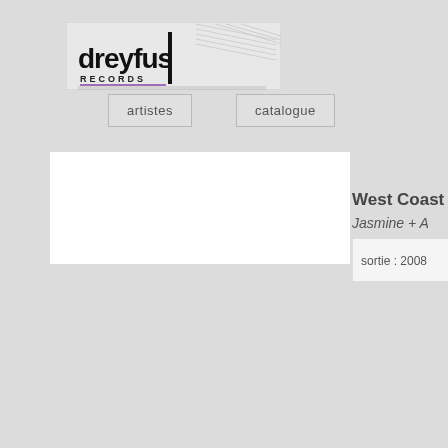[Figure (logo): Dreyfus Records logo — stylized 'dreyfus' wordmark in large black letters with 'RECORDS' below, decorative lines/streaks in upper right]
[Figure (screenshot): Navigation buttons: 'artistes' and 'catalogue' on grey background]
[Figure (photo): White rectangle representing an album cover image placeholder]
West Coast
Jasmine + A
sortie : 2008